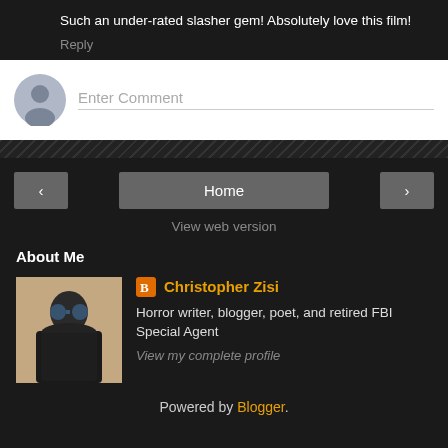Such an under-rated slasher gem! Absolutely love this film!
Reply
Enter Comment
< Home >
View web version
About Me
Christopher Zisi
Horror writer, blogger, poet, and retired FBI Special Agent
View my complete profile
Powered by Blogger.